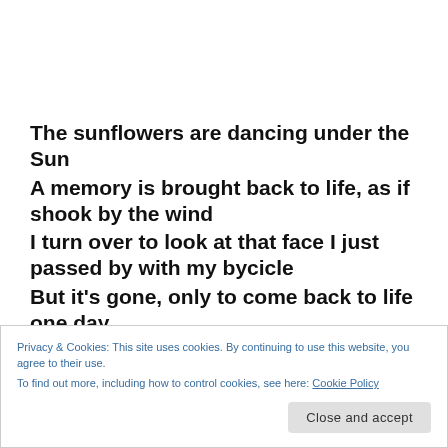The sunflowers are dancing under the Sun
A memory is brought back to life, as if shook by the wind
I turn over to look at that face I just passed by with my bycicle
But it's gone, only to come back to life one day
Privacy & Cookies: This site uses cookies. By continuing to use this website, you agree to their use.
To find out more, including how to control cookies, see here: Cookie Policy
Close and accept